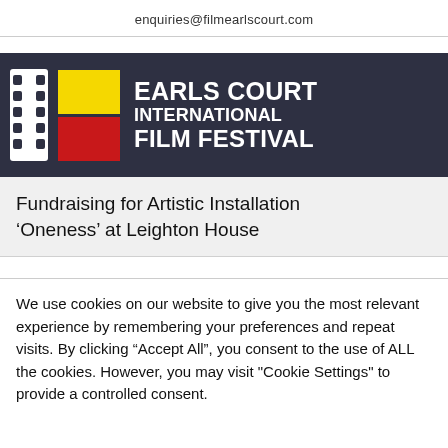enquiries@filmearlscourt.com
[Figure (logo): Earls Court International Film Festival logo: film strip icon with yellow and red color blocks, white bold text on dark navy background reading EARLS COURT INTERNATIONAL FILM FESTIVAL]
Fundraising for Artistic Installation ‘Oneness’ at Leighton House
We use cookies on our website to give you the most relevant experience by remembering your preferences and repeat visits. By clicking “Accept All”, you consent to the use of ALL the cookies. However, you may visit "Cookie Settings" to provide a controlled consent.